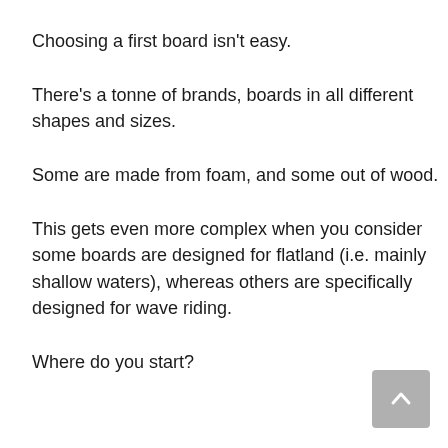Choosing a first board isn't easy.
There's a tonne of brands, boards in all different shapes and sizes.
Some are made from foam, and some out of wood.
This gets even more complex when you consider some boards are designed for flatland (i.e. mainly shallow waters), whereas others are specifically designed for wave riding.
Where do you start?